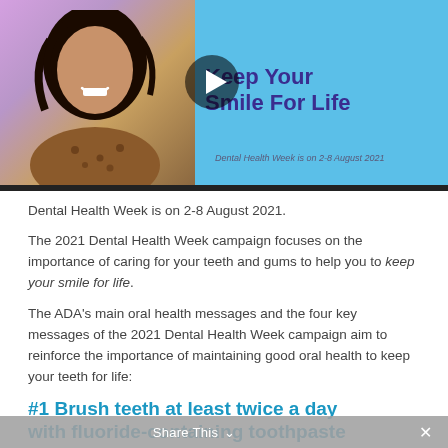[Figure (screenshot): Video thumbnail showing a smiling woman with dark hair on a purple/blue background on the left, and teal/blue panel on the right with text 'Keep Your Smile For Life' in dark purple, a play button overlay, and subtitle 'Dental Health Week is on 2-8 August 2021'. A dark progress bar sits below.]
Dental Health Week is on 2-8 August 2021.
The 2021 Dental Health Week campaign focuses on the importance of caring for your teeth and gums to help you to keep your smile for life.
The ADA's main oral health messages and the four key messages of the 2021 Dental Health Week campaign aim to reinforce the importance of maintaining good oral health to keep your teeth for life:
#1 Brush teeth at least twice a day with fluoride-containing toothpaste
Share This  ×